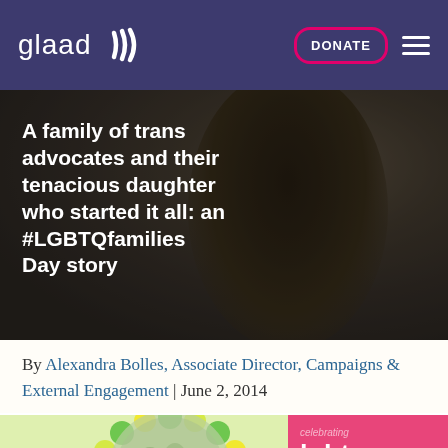[Figure (screenshot): GLAAD website navigation bar with logo on left and DONATE button and hamburger menu on right, purple background]
[Figure (photo): Hero image of a person's head from behind with dark hair, with white overlaid title text about a family of trans advocates]
A family of trans advocates and their tenacious daughter who started it all: an #LGBTQfamilies Day story
By Alexandra Bolles, Associate Director, Campaigns & External Engagement | June 2, 2014
[Figure (photo): Bottom portion showing a balloon wreath photo collage of LGBTQ families and a pink card reading 'celebrating lgbtq families']